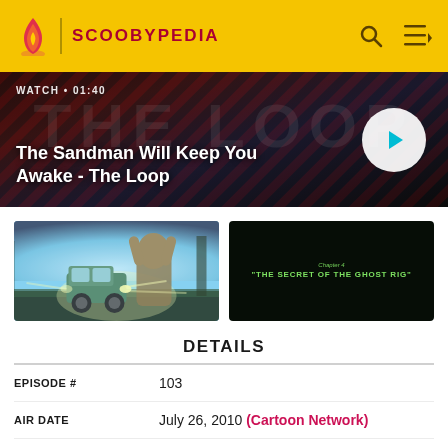SCOOBYPEDIA
[Figure (screenshot): Video banner for 'The Sandman Will Keep You Awake - The Loop' with WATCH • 01:40 label and play button]
The Sandman Will Keep You Awake - The Loop
[Figure (photo): Two thumbnails: left shows animated car scene in misty blue light, right shows dark title card 'THE SECRET OF THE GHOST RIG']
DETAILS
| Field | Value |
| --- | --- |
| EPISODE # | 103 |
| AIR DATE | July 26, 2010 (Cartoon Network) |
| AIR DATE | October 26, 2010 (Boomerang) |